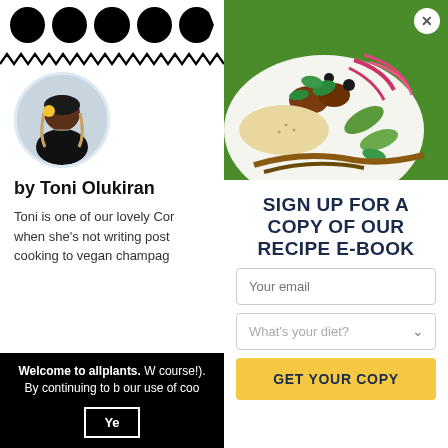[Figure (illustration): Row of black circular social media icons at top of left panel]
[Figure (illustration): Zigzag/wavy black decorative line divider]
[Figure (photo): Circular profile photo of Toni Olukiran, a woman with long hair holding a small citrus fruit, wearing a black outfit]
by Toni Olukiran
Toni is one of our lovely Cor when she's not writing post cooking to vegan champag
Welcome to allplants. W course!). By continuing to b our use of coo
[Figure (photo): Food photo showing a white bowl with cooked dish topped with red onions, mint, cucumber, olives on green background]
SIGN UP FOR A COPY OF OUR RECIPE E-BOOK
Your email
What's your diet?
GET YOUR COPY